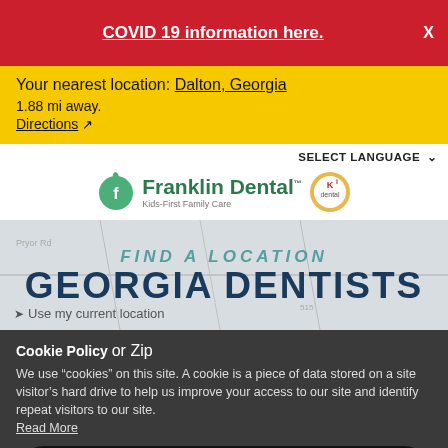COVID 19 information here.  X
Your nearest location: Dalton, Georgia
1.88 mi away.
Directions
[Figure (logo): Franklin Dental Kids-First Family Care logo with apple icon and Kids badge]
SELECT LANGUAGE
FIND A LOCATION
GEORGIA DENTISTS
Use my current location
Cookie Policy or Zip
We use “cookies” on this site. A cookie is a piece of data stored on a site visitor’s hard drive to help us improve your access to our site and identify repeat visitors to our site.
Read More
SEARCH
Accept